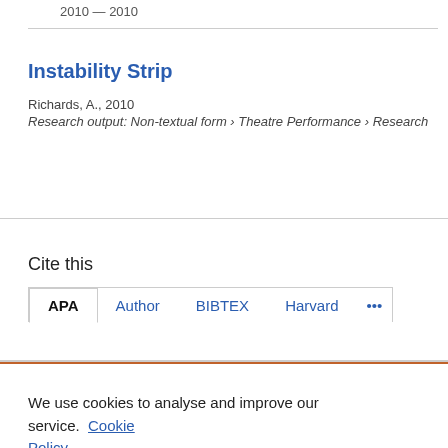2010 — 2010
Instability Strip
Richards, A., 2010
Research output: Non-textual form › Theatre Performance › Research
Cite this
APA  Author  BIBTEX  Harvard  •••
We use cookies to analyse and improve our service. Cookie Policy